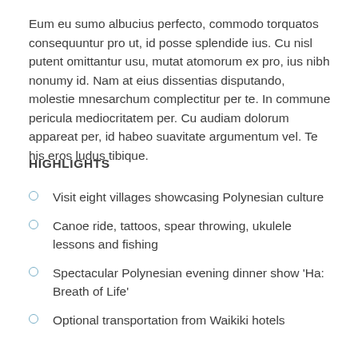Eum eu sumo albucius perfecto, commodo torquatos consequuntur pro ut, id posse splendide ius. Cu nisl putent omittantur usu, mutat atomorum ex pro, ius nibh nonumy id. Nam at eius dissentias disputando, molestie mnesarchum complectitur per te. In commune pericula mediocritatem per. Cu audiam dolorum appareat per, id habeo suavitate argumentum vel. Te his eros ludus tibique.
HIGHLIGHTS
Visit eight villages showcasing Polynesian culture
Canoe ride, tattoos, spear throwing, ukulele lessons and fishing
Spectacular Polynesian evening dinner show 'Ha: Breath of Life'
Optional transportation from Waikiki hotels